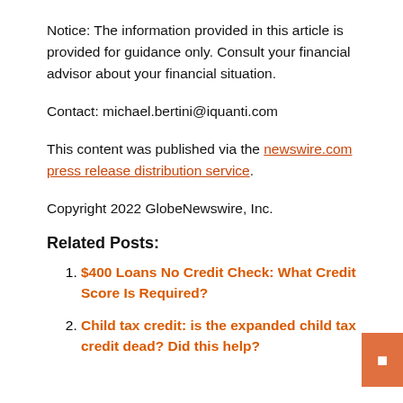Notice: The information provided in this article is provided for guidance only. Consult your financial advisor about your financial situation.
Contact: michael.bertini@iquanti.com
This content was published via the newswire.com press release distribution service.
Copyright 2022 GlobeNewswire, Inc.
Related Posts:
$400 Loans No Credit Check: What Credit Score Is Required?
Child tax credit: is the expanded child tax credit dead? Did this help?